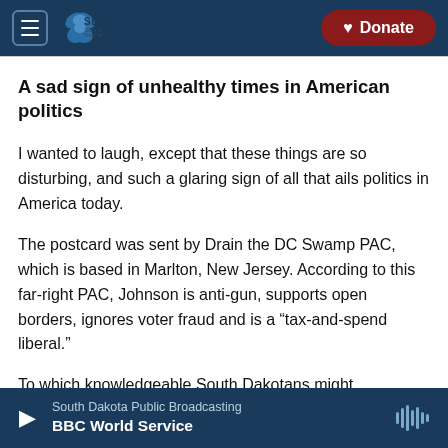SDPB South Dakota Public Broadcasting | Donate
A sad sign of unhealthy times in American politics
I wanted to laugh, except that these things are so disturbing, and such a glaring sign of all that ails politics in America today.
The postcard was sent by Drain the DC Swamp PAC, which is based in Marlton, New Jersey. According to this far-right PAC, Johnson is anti-gun, supports open borders, ignores voter fraud and is a “tax-and-spend liberal.”
To which knowledgeable South Dakotans might
South Dakota Public Broadcasting | BBC World Service